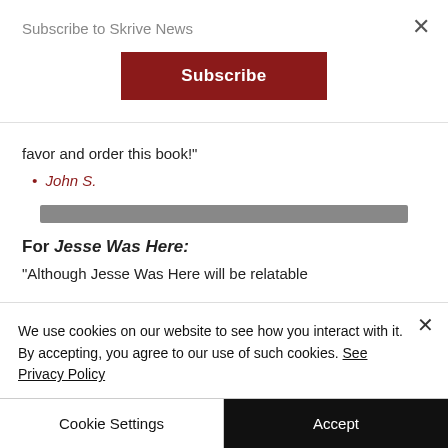Subscribe to Skrive News
Subscribe
favor and order this book!"
John S.
For Jesse Was Here:
"Although Jesse Was Here will be relatable
We use cookies on our website to see how you interact with it. By accepting, you agree to our use of such cookies. See Privacy Policy
Cookie Settings
Accept